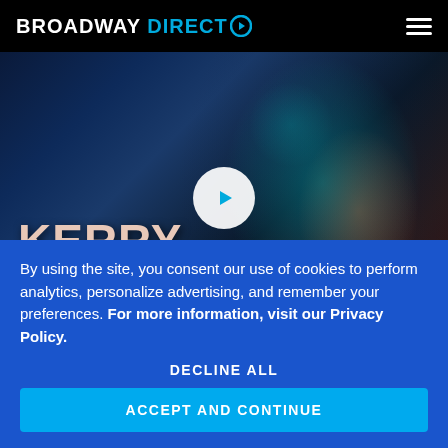BROADWAY DIRECT
[Figure (photo): Hero image of Kerry Washington against a dark teal/blue and red-lit background, with a circular play button overlay and bold text 'KERRY WASHINGTON' at bottom left]
By using the site, you consent our use of cookies to perform analytics, personalize advertising, and remember your preferences. For more information, visit our Privacy Policy.
DECLINE ALL
ACCEPT AND CONTINUE